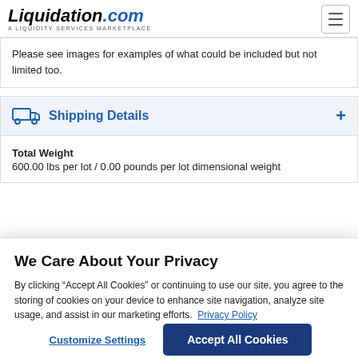Liquidation.com — A LIQUIDITY SERVICES MARKETPLACE
Please see images for examples of what could be included but not limited too.
Shipping Details
Total Weight
600.00 lbs per lot / 0.00 pounds per lot dimensional weight
We Care About Your Privacy
By clicking “Accept All Cookies” or continuing to use our site, you agree to the storing of cookies on your device to enhance site navigation, analyze site usage, and assist in our marketing efforts.  Privacy Policy
Customize Settings    Accept All Cookies